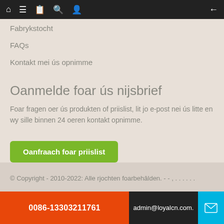Navigation bar with home, menu, book, search, user icons and back arrow
Fabrykstocht
FAQs
Kontakt mei ús opnimme
Oanmelde foar ús nijsbrief
Foar fragen oer ús produkten of priislist, lit jo e-post nei ús litte en wy sille binnen 24 oeren kontakt opnimme.
Oanfraach foar priislist
[Figure (other): Social media icon buttons: Facebook (f), LinkedIn (in), YouTube logos on green rounded square buttons]
© Copyright - 2010-2022: Alle rjochten foarbehâlden. - - , . . . . . .
0086-13303211761   admin@loyalcn.com.